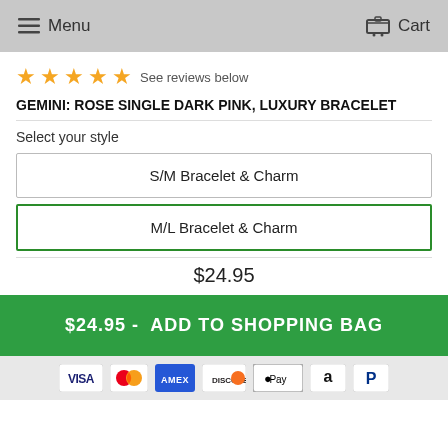Menu  Cart
★★★★★ See reviews below
GEMINI: ROSE SINGLE DARK PINK, LUXURY BRACELET
Select your style
S/M Bracelet & Charm
M/L Bracelet & Charm
$24.95
$24.95 -  ADD TO SHOPPING BAG
[Figure (infographic): Payment method icons: Visa, Mastercard, American Express, Discover, Apple Pay, Amazon, PayPal]